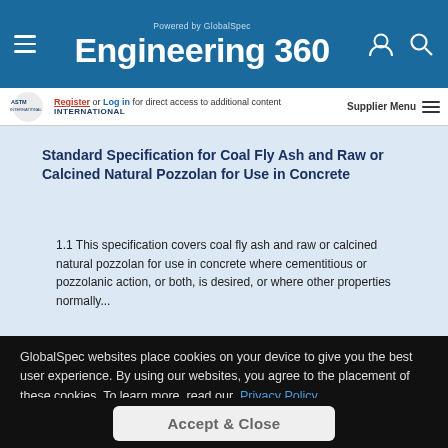Powered by GlobalSpec — Engineering 360
Register or Log in for direct access to additional content
ASTM INTERNATIONAL — Supplier Menu
Standard Specification for Coal Fly Ash and Raw or Calcined Natural Pozzolan for Use in Concrete
1.1 This specification covers coal fly ash and raw or calcined natural pozzolan for use in concrete where cementitious or pozzolanic action, or both, is desired, or where other properties normally...
GlobalSpec websites place cookies on your device to give you the best user experience. By using our websites, you agree to the placement of these cookies. To learn more, read our Privacy Policy
Accept & Close